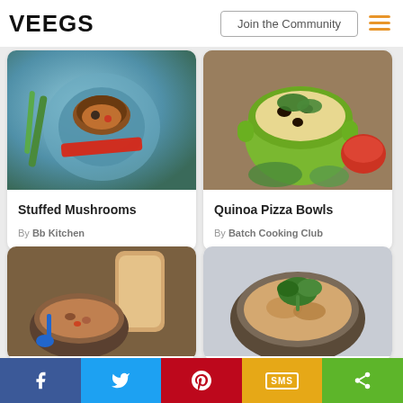VEEGS
Join the Community
[Figure (photo): Stuffed mushroom dish on a blue plate viewed from above, with red pepper and green onion]
Stuffed Mushrooms
By Bb Kitchen
[Figure (photo): Quinoa pizza bowl in a green ceramic pot with black beans, greens, and red sauce on wooden surface]
Quinoa Pizza Bowls
By Batch Cooking Club
[Figure (photo): Lentil soup in a bowl with a jar of liquid and blue spoon on wooden surface]
[Figure (photo): Pasta dish in a bowl garnished with fresh parsley on light background]